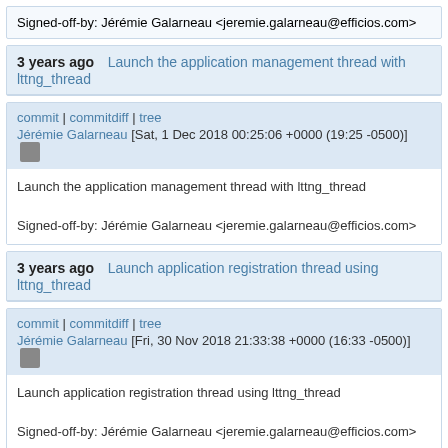Signed-off-by: Jérémie Galarneau <jeremie.galarneau@efficios.com>
3 years ago    Launch the application management thread with lttng_thread
commit | commitdiff | tree
Jérémie Galarneau [Sat, 1 Dec 2018 00:25:06 +0000 (19:25 -0500)]
Launch the application management thread with lttng_thread

Signed-off-by: Jérémie Galarneau <jeremie.galarneau@efficios.com>
3 years ago    Launch application registration thread using lttng_thread
commit | commitdiff | tree
Jérémie Galarneau [Fri, 30 Nov 2018 21:33:38 +0000 (16:33 -0500)]
Launch application registration thread using lttng_thread

Signed-off-by: Jérémie Galarneau <jeremie.galarneau@efficios.com>